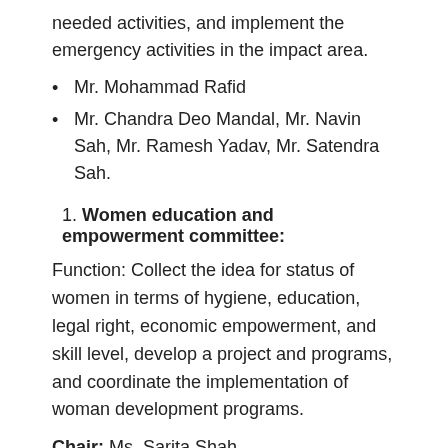needed activities, and implement the emergency activities in the impact area.
Mr. Mohammad Rafid
Mr. Chandra Deo Mandal, Mr. Navin Sah, Mr. Ramesh Yadav, Mr. Satendra Sah.
1. Women education and empowerment committee:
Function: Collect the idea for status of women in terms of hygiene, education, legal right, economic empowerment, and skill level, develop a project and programs, and coordinate the implementation of woman development programs.
Chair: Ms. Sarita Shah
Members: Ms. Bandana Sah, Ms. Binam Mahaseth, Ms.